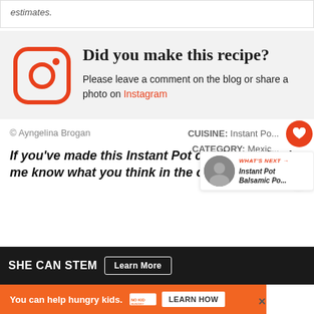estimates.
Did you make this recipe?
Please leave a comment on the blog or share a photo on Instagram
© Ayngelina Brogan
CUISINE: Instant Pot   CATEGORY: Mexico
If you've made this Instant Pot carnitas recipe le me know what you think in the commer
[Figure (other): Instant Pot Balsamic Po... thumbnail with WHAT'S NEXT label]
[Figure (other): SHE CAN STEM advertisement banner with Learn More button]
You can help hungry kids.
LEARN HOW